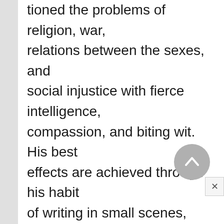tioned the problems of religion, war, relations between the sexes, and social injustice with fierce intelligence, compassion, and biting wit. His best effects are achieved through his habit of writing in small scenes, making his points through showing rather than telling. He usually strives to present the various aspects of an issue, rather than didactically presenting only one point of view.
In his long career Tolstoi wrote three novels, Voina i mir (War and Peace),